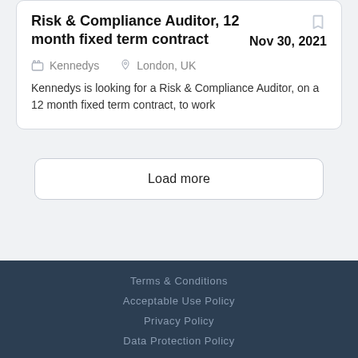Risk & Compliance Auditor, 12 month fixed term contract
Nov 30, 2021
Kennedys   London, UK
Kennedys is looking for a Risk & Compliance Auditor, on a 12 month fixed term contract, to work
Load more
Terms & Conditions
Acceptable Use Policy
Privacy Policy
Data Protection Policy